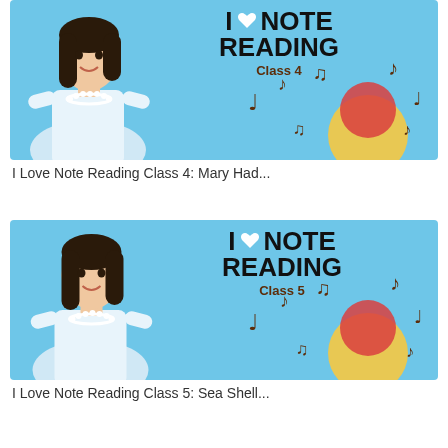[Figure (illustration): Thumbnail image for 'I Love Note Reading Class 4' course. Light blue background with a woman with dark hair and pearl necklace on the left, large bold text 'I ♥ NOTE READING Class 4' in the center-right, and colorful musical note decorations with red and yellow circles on the right.]
I Love Note Reading Class 4: Mary Had...
[Figure (illustration): Thumbnail image for 'I Love Note Reading Class 5' course. Light blue background with a woman with dark hair and pearl necklace on the left, large bold text 'I ♥ NOTE READING Class 5' in the center-right, and colorful musical note decorations with red and yellow circles on the right.]
I Love Note Reading Class 5: Sea Shell...